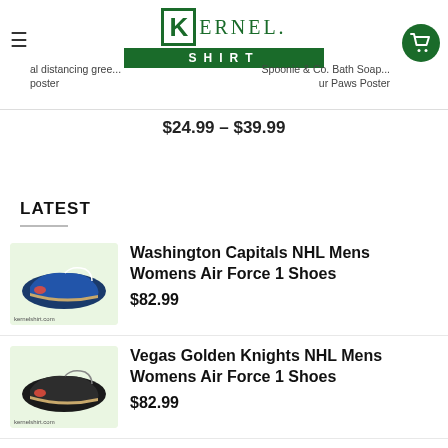Kernel Shirt - online store header with logo and navigation
al distancing gree... / poster
Spoonie & Co. Bath Soap / ur Paws Poster
$24.99 – $39.99
LATEST
Washington Capitals NHL Mens Womens Air Force 1 Shoes
$82.99
Vegas Golden Knights NHL Mens Womens Air Force 1 Shoes
$82.99
Vancouver Canucks NHL Mens Womens Air Force 1 Shoes